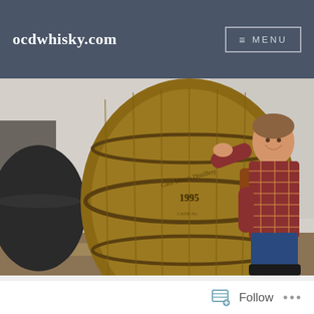ocdwhisky.com  ≡ MENU
[Figure (photo): A smiling young man in a plaid shirt crouching beside a large wooden whisky barrel marked '1995' in a distillery warehouse with whitewashed stone walls. Another dark barrel is visible to the left.]
Follow  ...